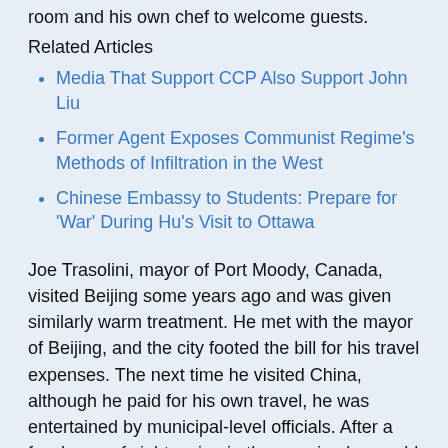room and his own chef to welcome guests.
Related Articles
Media That Support CCP Also Support John Liu
Former Agent Exposes Communist Regime's Methods of Infiltration in the West
Chinese Embassy to Students: Prepare for 'War' During Hu's Visit to Ottawa
Joe Trasolini, mayor of Port Moody, Canada, visited Beijing some years ago and was given similarly warm treatment. He met with the mayor of Beijing, and the city footed the bill for his travel expenses. The next time he visited China, although he paid for his own travel, he was entertained by municipal-level officials. After a few hours of sightseeing in the morning he would enjoy extravagant banquets in the evening.
Except the super rich, most live a lifetime without receiving such treatment. In today's China, however, it has become the norm for communist officials to personally receive in